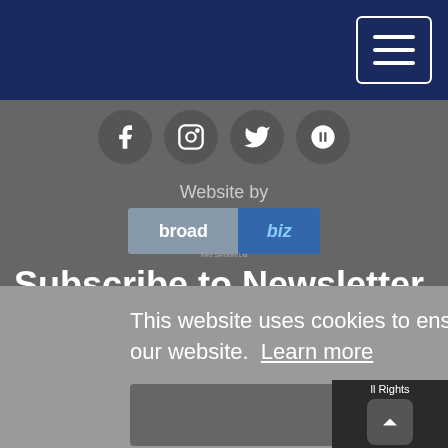[Figure (screenshot): Navy top navigation bar with hamburger menu button (three white lines in white-bordered rectangle) on the right side]
[Figure (illustration): Four social media icons (Facebook, Instagram, Twitter, Mailchimp) as white icons on dark gray circles]
Website by
[Figure (logo): Broadbiz Web Services Ltd logo - 'broad' on blue-gray background and 'biz' in italic on dark blue background]
Subscribe to Newsletter
Email Address
This website uses cookies to ensure you get the best experience on our website.  Learn more
Got it!
ll Rights